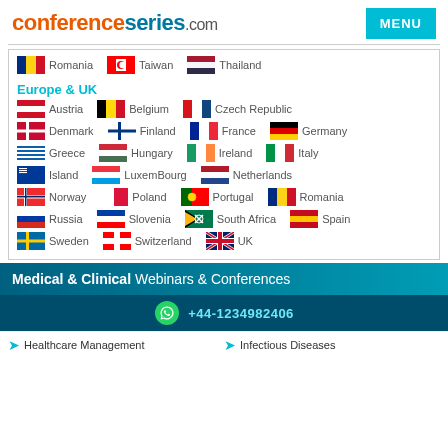conferenceseries.com
Romania  Taiwan  Thailand
Europe & UK
Austria  Belgium  Czech Republic  Denmark  Finland  France  Germany  Greece  Hungary  Ireland  Italy  Island  LuxemBourg  Netherlands  Norway  Poland  Portugal  Romania  Russia  Slovenia  South Africa  Spain  Sweden  Switzerland  UK
Medical & Clinical Webinars & Conferences
+44-1234982406
Healthcare Management   Infectious Diseases